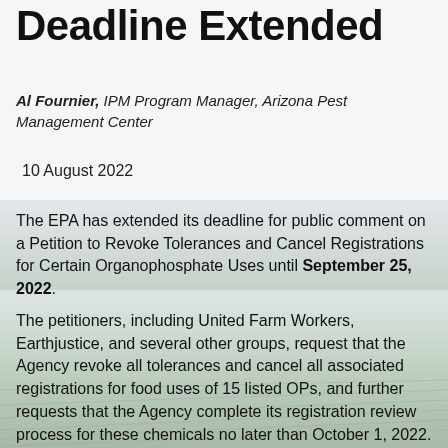Deadline Extended
Al Fournier, IPM Program Manager, Arizona Pest Management Center
10 August 2022
The EPA has extended its deadline for public comment on a Petition to Revoke Tolerances and Cancel Registrations for Certain Organophosphate Uses until September 25, 2022.
The petitioners, including United Farm Workers, Earthjustice, and several other groups, request that the Agency revoke all tolerances and cancel all associated registrations for food uses of 15 listed OPs, and further requests that the Agency complete its registration review process for these chemicals no later than October 1, 2022. The pesticides are currently at various stages of review, and the proposed deadline does not align with